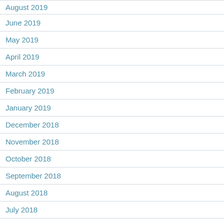August 2019
June 2019
May 2019
April 2019
March 2019
February 2019
January 2019
December 2018
November 2018
October 2018
September 2018
August 2018
July 2018